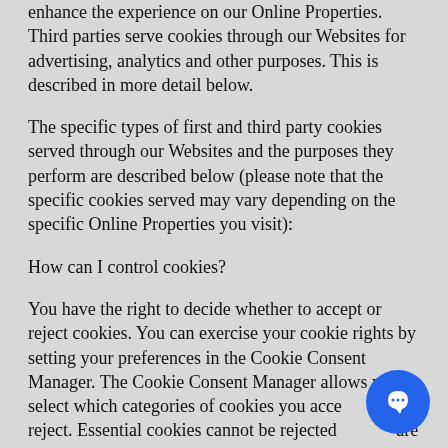enhance the experience on our Online Properties. Third parties serve cookies through our Websites for advertising, analytics and other purposes. This is described in more detail below.
The specific types of first and third party cookies served through our Websites and the purposes they perform are described below (please note that the specific cookies served may vary depending on the specific Online Properties you visit):
How can I control cookies?
You have the right to decide whether to accept or reject cookies. You can exercise your cookie rights by setting your preferences in the Cookie Consent Manager. The Cookie Consent Manager allows you to select which categories of cookies you accept or reject. Essential cookies cannot be rejected as they are strictly necessary to provide you with services.